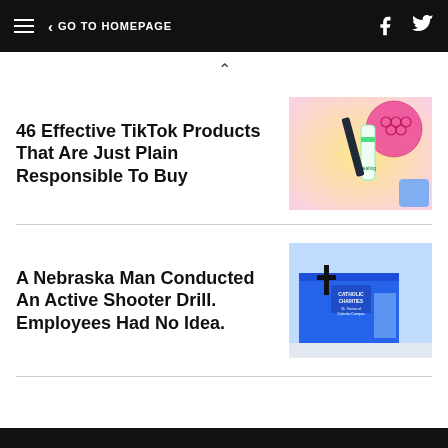≡  ‹ GO TO HOMEPAGE
^
46 Effective TikTok Products That Are Just Plain Responsible To Buy
[Figure (photo): Colorful TikTok products including a pink sphere, cosmetics, and accessories on a bright background]
A Nebraska Man Conducted An Active Shooter Drill. Employees Had No Idea.
[Figure (photo): A blue building with a cross and Catholic Charities signage against a grey sky]